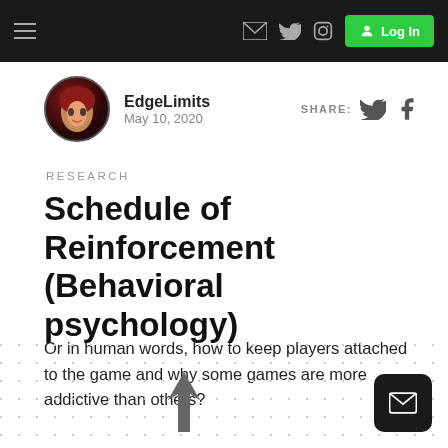EdgeLimits — navigation bar with hamburger menu, email, Twitter, Instagram icons, and Log In button
EdgeLimits
May 10, 2020
RESEARCH
Schedule of Reinforcement (Behavioral psychology)
Or in human words, how to keep players attached to the game and why some games are more addictive than others?